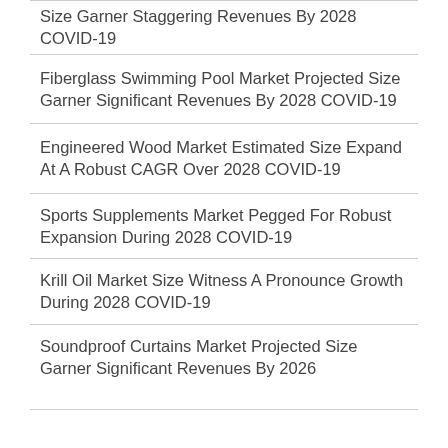Size Garner Staggering Revenues By 2028 COVID-19
Fiberglass Swimming Pool Market Projected Size Garner Significant Revenues By 2028 COVID-19
Engineered Wood Market Estimated Size Expand At A Robust CAGR Over 2028 COVID-19
Sports Supplements Market Pegged For Robust Expansion During 2028 COVID-19
Krill Oil Market Size Witness A Pronounce Growth During 2028 COVID-19
Soundproof Curtains Market Projected Size Garner Significant Revenues By 2026